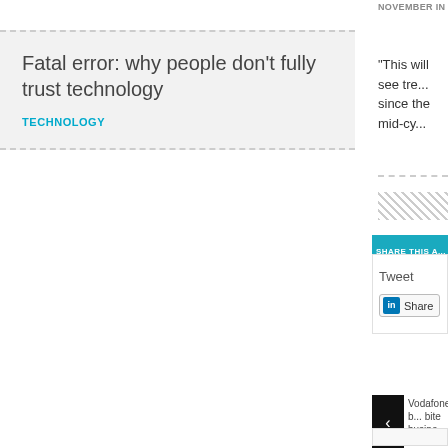Fatal error: why people don't fully trust technology
TECHNOLOGY
NOVEMBER IN 20...
“This will see tre... since the mid-cy...
SHARE THIS A...
Tweet
Share
Vodafone b... bite busine...
TECHNOLOGY